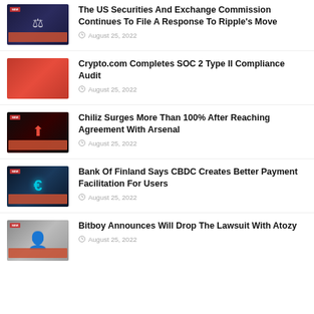The US Securities And Exchange Commission Continues To File A Response To Ripple's Move — August 25, 2022
Crypto.com Completes SOC 2 Type II Compliance Audit — August 25, 2022
Chiliz Surges More Than 100% After Reaching Agreement With Arsenal — August 25, 2022
Bank Of Finland Says CBDC Creates Better Payment Facilitation For Users — August 25, 2022
Bitboy Announces Will Drop The Lawsuit With Atozy — August 25, 2022